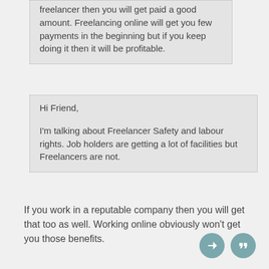freelancer then you will get paid a good amount. Freelancing online will get you few payments in the beginning but if you keep doing it then it will be profitable.
Hi Friend,

I'm talking about Freelancer Safety and labour rights. Job holders are getting a lot of facilities but Freelancers are not.
If you work in a reputable company then you will get that too as well. Working online obviously won't get you those benefits.